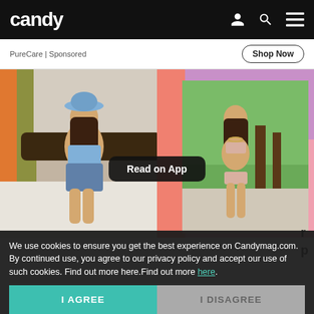candy
PureCare | Sponsored
Shop Now
[Figure (photo): Two-panel photo collage: left panel shows a young woman in a blue bucket hat, blue crop top and denim shorts sitting on a bed; right panel shows a young woman in a pink bikini standing outdoors with a garden background, framed by a pink/coral border. A 'Read on App' button overlay appears in the center.]
We use cookies to ensure you get the best experience on Candymag.com. By continued use, you agree to our privacy policy and accept our use of such cookies. Find out more here.Find out more here.
I AGREE
I DISAGREE